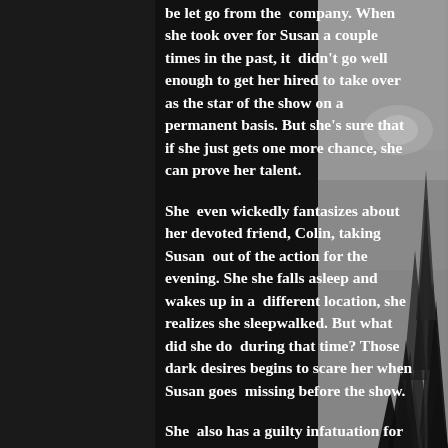be let go from the company. When she took over for Susan a couple times in the past, it didn't go well enough to get her hired to take over as the star of the show on a permanent basis. But she's sure that if she just gets one more chance, she can prove her talent.
She even wickedly fantasizes about her devoted friend, Colin, taking Susan out of the action for the evening. She she falls asleep and wakes up in a different location, she realizes she sleepwalked. But what did she do during that time? Those dark desires begins to scare her when Susan goes missing before the show.
She also has a guilty infatuation for